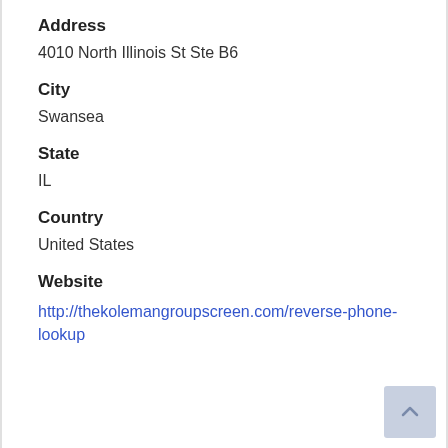Address
4010 North Illinois St Ste B6
City
Swansea
State
IL
Country
United States
Website
http://thekolemangroupscreen.com/reverse-phone-lookup